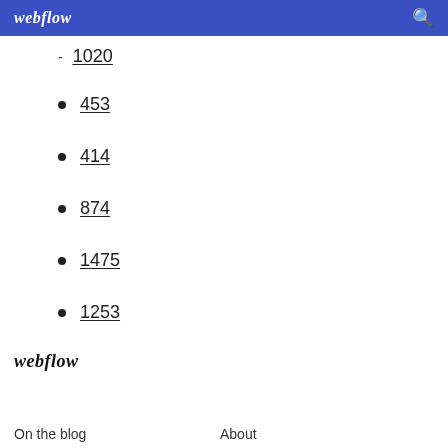webflow
1020
453
414
874
1475
1253
webflow
On the blog
About